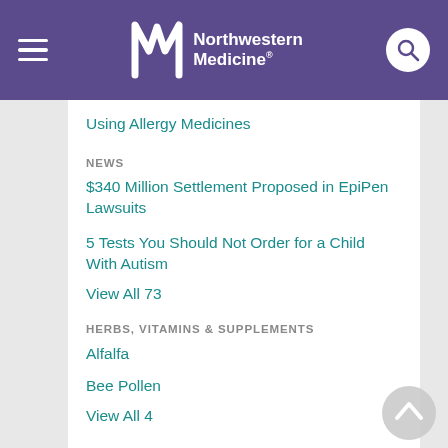Northwestern Medicine
Using Allergy Medicines
NEWS
$340 Million Settlement Proposed in EpiPen Lawsuits
5 Tests You Should Not Order for a Child With Autism
View All 73
HERBS, VITAMINS & SUPPLEMENTS
Alfalfa
Bee Pollen
View All 4